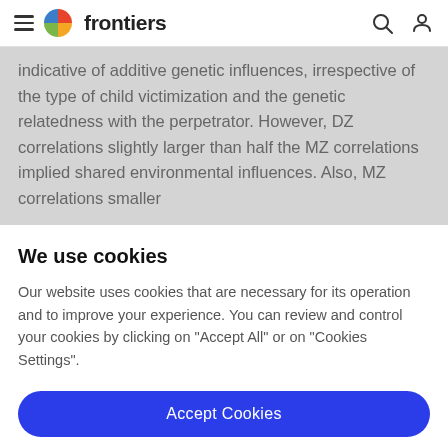frontiers
indicative of additive genetic influences, irrespective of the type of child victimization and the genetic relatedness with the perpetrator. However, DZ correlations slightly larger than half the MZ correlations implied shared environmental influences. Also, MZ correlations smaller
We use cookies
Our website uses cookies that are necessary for its operation and to improve your experience. You can review and control your cookies by clicking on "Accept All" or on "Cookies Settings".
Accept Cookies
Cookies Settings